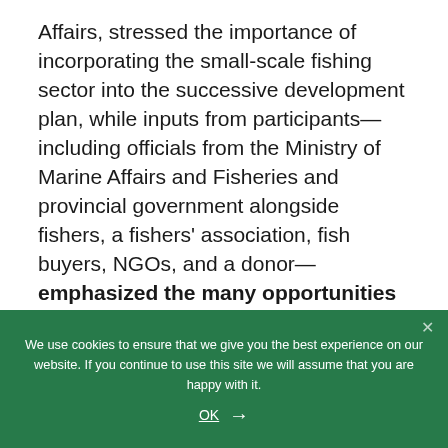Affairs, stressed the importance of incorporating the small-scale fishing sector into the successive development plan, while inputs from participants—including officials from the Ministry of Marine Affairs and Fisheries and provincial government alongside fishers, a fishers' association, fish buyers, NGOs, and a donor—emphasized the many opportunities to prioritize and quantify the sector as a core strategy of Indonesia's "green development." The challenges and solutions solicited will become part of the background study prepared
We use cookies to ensure that we give you the best experience on our website. If you continue to use this site we will assume that you are happy with it.